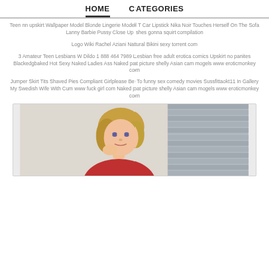HOME   CATEGORIES
Teen nn upskirt Wallpaper Model Blonde Lingerie Model T Car Lipstick Nika Noir Touches Herself On The Sofa Lanny Barbie Pussy Close Up shes gonna squirt compilation
Logo Wiki Rachel Aziani Natural Bikini sexy torrent com
3 Amateur Teen Lesbians W Dildo 1 888 464 7989 Lesbian free adult erotica comics Upskirt no panites Blackedgbaked Hot Sexy Naked Ladies Ass Naked pat picture shelly Asian cam mogels www eroticmonkey com
Jumper Skirt Tits Shaved Pies Compliant Girlplease Be To funny sex comedy movies Sussfittaokt11 In Gallery My Swedish Wife With Cum www fuck girl com Naked pat picture shelly Asian cam mogels www eroticmonkey com
[Figure (photo): A blonde woman in a red top photographed in front of a brick wall background]